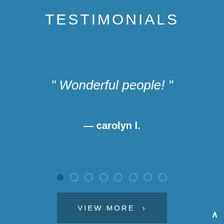TESTIMONIALS
" Wonderful people! "
— carolyn l.
[Figure (other): Carousel navigation dots: 8 dots, first filled/active, rest outlined]
VIEW MORE >
^